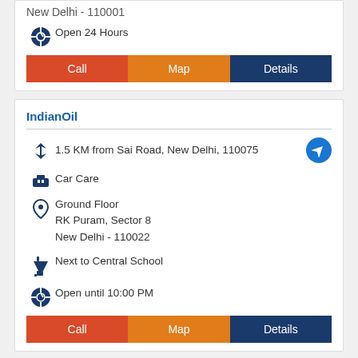New Delhi - 110001
Open 24 Hours
Call | Map | Details
IndianOil
1.5 KM from Sai Road, New Delhi, 110075
Car Care
Ground Floor
RK Puram, Sector 8
New Delhi - 110022
Next to Central School
Open until 10:00 PM
Call | Map | Details
IndianOil